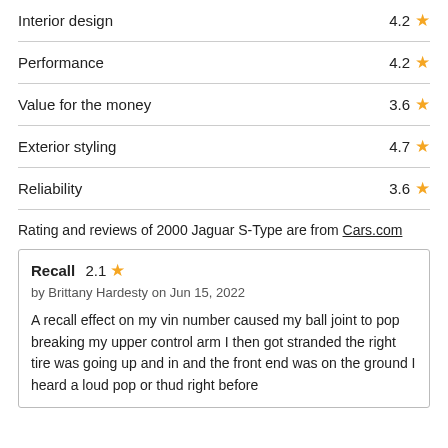Interior design  4.2 ★
Performance  4.2 ★
Value for the money  3.6 ★
Exterior styling  4.7 ★
Reliability  3.6 ★
Rating and reviews of 2000 Jaguar S-Type are from Cars.com
Recall  2.1 ★
by Brittany Hardesty on Jun 15, 2022

A recall effect on my vin number caused my ball joint to pop breaking my upper control arm I then got stranded the right tire was going up and in and the front end was on the ground I heard a loud pop or thud right before